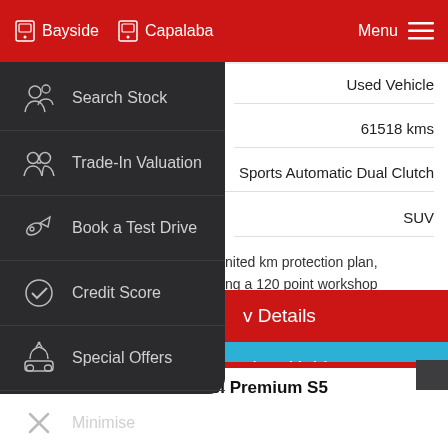Bayside   Capalaba   Menu
Search Stock
Trade-In Valuation
Book a Test Drive
Credit Score
Special Offers
Minimise
Used Vehicle
61518 kms
Sports Automatic Dual Clutch
SUV
nited km protection plan, ng a 120 point workshop e only...
v Details
ck to Hold
2020 Subaru Forester 2.5i Premium S5